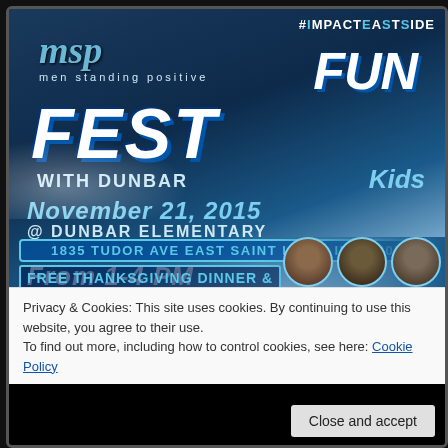[Figure (illustration): MSP Men Standing Positive Fun Fest with Dunbar Kids event flyer. Dark blue background with white splashes. Shows event name, date November 21 2015, location Dunbar Elementary, address 1835 Tudor Ave East Saint Louis IL 62207, time From 1-4 PM, Free Thanksgiving Dinner & Clothing Giveaway!! Hashtag #IMPACTEASTSIDE in top right. Photos of three men at bottom right.]
Privacy & Cookies: This site uses cookies. By continuing to use this website, you agree to their use.
To find out more, including how to control cookies, see here: Cookie Policy
Close and accept